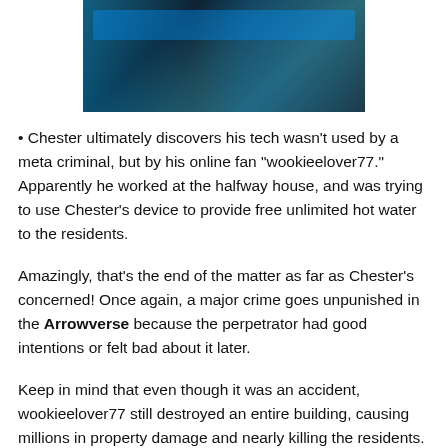[Figure (photo): Dark screenshot or photo showing a computer monitor/screen with blue-tinted lighting in a dark environment]
Chester ultimately discovers his tech wasn't used by a meta criminal, but by his online fan "wookieelover77." Apparently he worked at the halfway house, and was trying to use Chester's device to provide free unlimited hot water to the residents.
Amazingly, that's the end of the matter as far as Chester's concerned! Once again, a major crime goes unpunished in the Arrowverse because the perpetrator had good intentions or felt bad about it later.
Keep in mind that even though it was an accident, wookieelover77 still destroyed an entire building, causing millions in property damage and nearly killing the residents.
In reality he'd be guilty of willful destruction of property, reckless endangerment, attempted murder (or involuntary manslaughter at the very least) and probably more charges I can't think of right now. The owners of the building would